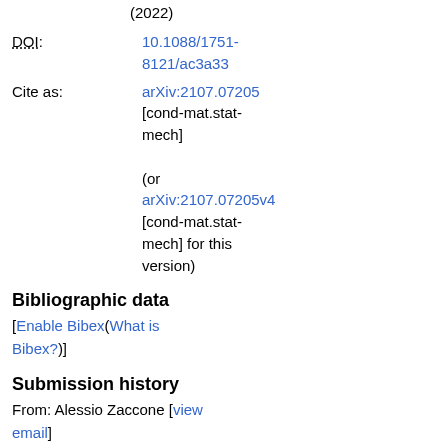(2022)
DOI: 10.1088/1751-8121/ac3a33
Cite as: arXiv:2107.07205 [cond-mat.stat-mech] (or arXiv:2107.07205v4 [cond-mat.stat-mech] for this version)
Bibliographic data
[Enable Bibex(What is Bibex?)]
Submission history
From: Alessio Zaccone [view email]
[v1] Thu, 15 Jul 2021 09:25:36 GMT (9650kb,D)
[v2] Wed, 15 Dec 2021 16:23:35